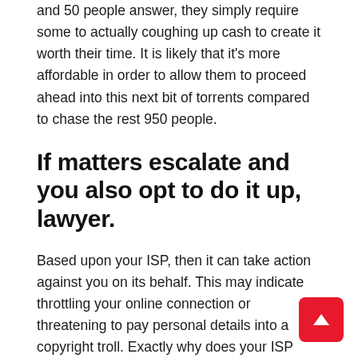and 50 people answer, they simply require some to actually coughing up cash to create it worth their time. It is likely that it's more affordable in order to allow them to proceed ahead into this next bit of torrents compared to chase the rest 950 people.
If matters escalate and you also opt to do it up, lawyer.
Based upon your ISP, then it can take action against you on its behalf. This may indicate throttling your online connection or threatening to pay personal details into a copyright troll. Exactly why does your ISP actually care? Because torrenting uses up plenty of bandwidth, and that bandwidth costs ISPs money. In addition to this, an ISP might possibly be receiving kickbacks from satisfied